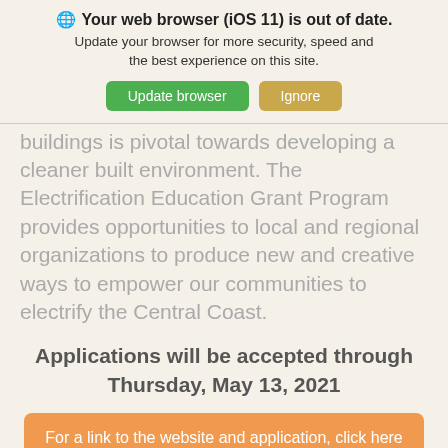[Figure (screenshot): Browser update notification banner with globe icon, bold title 'Your web browser (iOS 11) is out of date.', subtitle text, and two buttons: 'Update browser' (green) and 'Ignore' (tan/gold)]
buildings is pivotal towards developing a cleaner built environment. The Electrification Education Grant Program provides opportunities to local and regional organizations to produce new and creative ways to empower our communities to electrify the Central Coast.
Applications will be accepted through Thursday, May 13, 2021
For a link to the website and application, click here
Posted in Uncategorized Leave a Comment